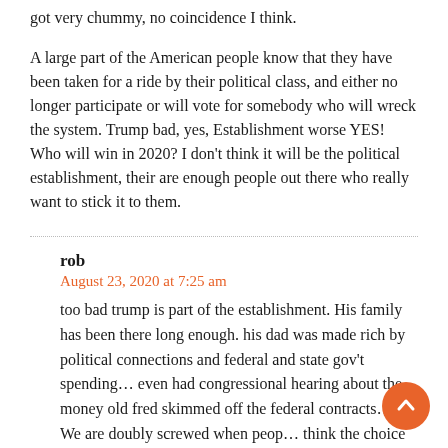got very chummy, no coincidence I think.
A large part of the American people know that they have been taken for a ride by their political class, and either no longer participate or will vote for somebody who will wreck the system. Trump bad, yes, Establishment worse YES! Who will win in 2020? I don't think it will be the political establishment, their are enough people out there who really want to stick it to them.
rob
August 23, 2020 at 7:25 am
too bad trump is part of the establishment. His family has been there long enough. his dad was made rich by political connections and federal and state gov't spending… even had congressional hearing about the money old fred skimmed off the federal contracts… We are doubly screwed when people think the choice is between the